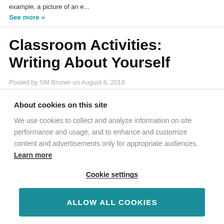example, a picture of an e...
See more »
Classroom Activities: Writing About Yourself
Posted by SM Bruner on August 6, 2018
About cookies on this site
We use cookies to collect and analyze information on site performance and usage, and to enhance and customize content and advertisements only for appropriate audiences. Learn more
Cookie settings
ALLOW ALL COOKIES